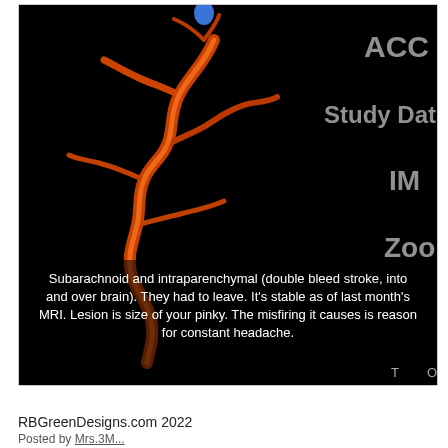[Figure (photo): 3D rendered MRI/CT angiography image of cerebral blood vessels on a black background, showing orange/red colored vessel structure resembling a snake or tree. Overlaid text labels on right side partially visible: 'ACC', 'Study Dat', 'IM', 'Zoo'. A blue marker visible at top center. Caption text overlay at bottom describes subarachnoid and intraparenchymal double bleed stroke.]
Subarachnoid and intraparenchymal (double bleed stroke, into and over brain). They had to leave. It's stable as of last month's MRI. Lesion is size of your pinky. The misfiring it causes is reason for constant headache.
RBGreenDesigns.com 2022
Posted by...